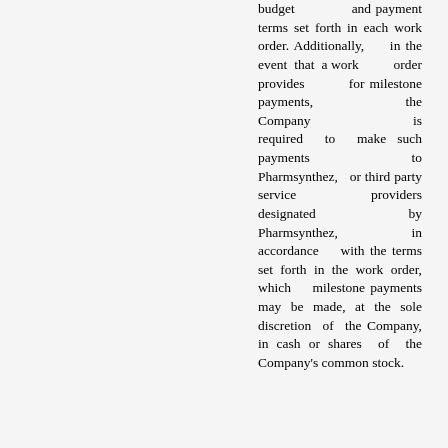budget and payment terms set forth in each work order. Additionally, in the event that a work order provides for milestone payments, the Company is required to make such payments to Pharmsynthez, or third party service providers designated by Pharmsynthez, in accordance with the terms set forth in the work order, which milestone payments may be made, at the sole discretion of the Company, in cash or shares of the Company's common stock.